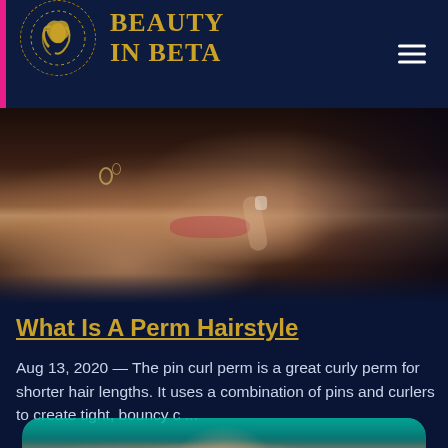BEAUTY IN BETA
[Figure (photo): Close-up portrait of a woman's face with lips and hand near mouth, dark background]
What Is A Perm Hairstyle
Aug 13, 2020 — The pin curl perm is a great curly perm for shorter hair lengths. It uses a combination of pins and curlers to create tight, bouncy c ...
[Figure (photo): Partial view of a woman's face against a teal/turquoise background]